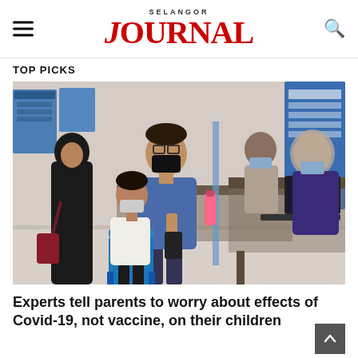SELANGOR JOURNAL
TOP PICKS
[Figure (photo): People at a COVID-19 vaccination center. A man wearing a black face mask stands talking to a seated young girl in a light top, while a woman in a black hijab and abaya stands nearby. In the background, medical staff work at tables with laptops.]
Experts tell parents to worry about effects of Covid-19, not vaccine, on their children